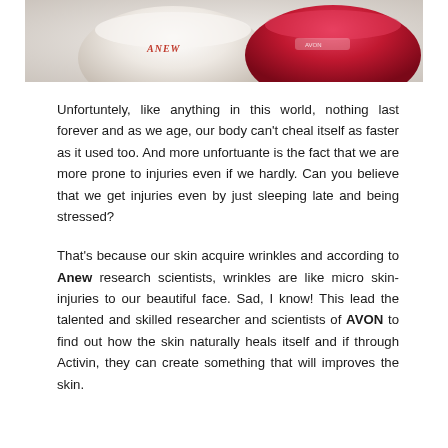[Figure (photo): Top portion of two cosmetic cream containers — a white container labeled ANEW on the left and a red/pink container on the right, photographed from above.]
Unfortuntely, like anything in this world, nothing last forever and as we age, our body can't cheal itself as faster as it used too. And more unfortuante is the fact that we are more prone to injuries even if we hardly. Can you believe that we get injuries even by just sleeping late and being stressed?
That's because our skin acquire wrinkles and according to Anew research scientists, wrinkles are like micro skin-injuries to our beautiful face. Sad, I know! This lead the talented and skilled researcher and scientists of AVON to find out how the skin naturally heals itself and if through Activin, they can create something that will improves the skin.